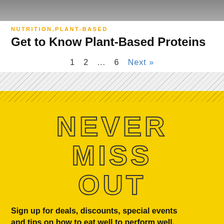[Figure (photo): Partial photo of food at top of page, cropped]
NUTRITION,PLANT-BASED
Get to Know Plant-Based Proteins
1   2   ...   6   Next »
NEVER MISS OUT
Sign up for deals, discounts, special events and tips on how to eat well to perform well.
Email address